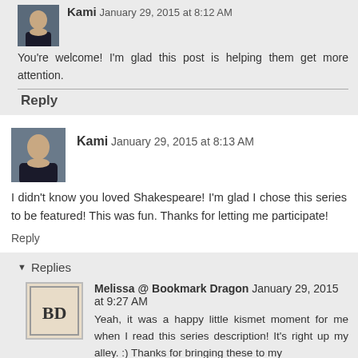Kami January 29, 2015 at 8:12 AM
You're welcome! I'm glad this post is helping them get more attention.
Reply
Kami January 29, 2015 at 8:13 AM
I didn't know you loved Shakespeare! I'm glad I chose this series to be featured! This was fun. Thanks for letting me participate!
Reply
Replies
Melissa @ Bookmark Dragon January 29, 2015 at 9:27 AM
Yeah, it was a happy little kismet moment for me when I read this series description! It's right up my alley. :) Thanks for bringing these to my